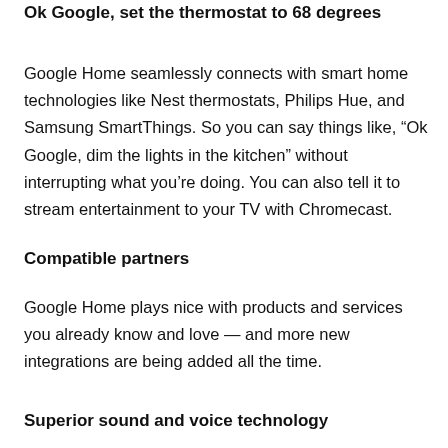Ok Google, set the thermostat to 68 degrees
Google Home seamlessly connects with smart home technologies like Nest thermostats, Philips Hue, and Samsung SmartThings. So you can say things like, “Ok Google, dim the lights in the kitchen” without interrupting what you’re doing. You can also tell it to stream entertainment to your TV with Chromecast.
Compatible partners
Google Home plays nice with products and services you already know and love — and more new integrations are being added all the time.
Superior sound and voice technology